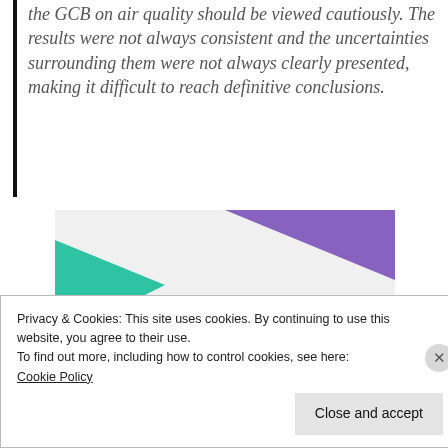the GCB on air quality should be viewed cautiously. The results were not always consistent and the uncertainties surrounding them were not always clearly presented, making it difficult to reach definitive conclusions.
[Figure (illustration): Advertisement banner with geometric shapes (purple triangle top-right, teal triangle left, blue arc bottom-right) on light gray background with bold text reading 'How to start selling subscriptions online']
Privacy & Cookies: This site uses cookies. By continuing to use this website, you agree to their use.
To find out more, including how to control cookies, see here: Cookie Policy
Close and accept